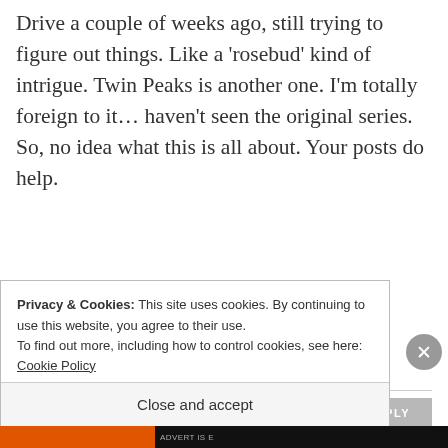Drive a couple of weeks ago, still trying to figure out things. Like a ‘rosebud’ kind of intrigue. Twin Peaks is another one. I’m totally foreign to it… haven’t seen the original series. So, no idea what this is all about. Your posts do help.
REPLY
[Figure (illustration): Avatar circle with a book cover image showing 'AND THEN' text on red background]
David H.
Privacy & Cookies: This site uses cookies. By continuing to use this website, you agree to their use.
To find out more, including how to control cookies, see here: Cookie Policy
Close and accept